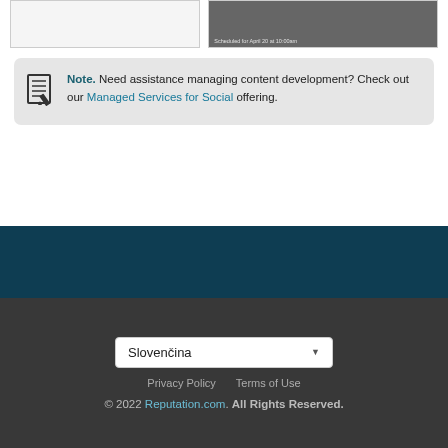[Figure (screenshot): Screenshot showing two panels: left panel is a white/grey UI area, right panel shows a dark photo of a person at a computer. Caption text reads 'Scheduled for April 20 at 10:00am']
Note. Need assistance managing content development? Check out our Managed Services for Social offering.
Slovenčina
Privacy Policy   Terms of Use
© 2022 Reputation.com. All Rights Reserved.